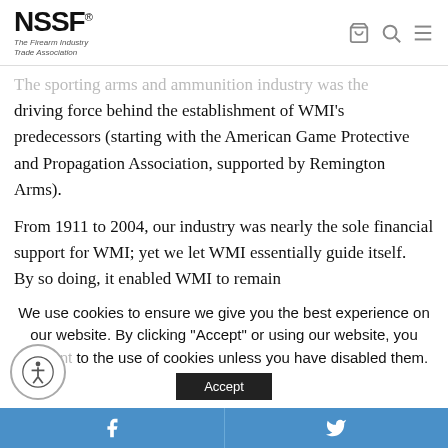NSSF® The Firearm Industry Trade Association
The sporting arms and ammunition industry was the driving force behind the establishment of WMI's predecessors (starting with the American Game Protective and Propagation Association, supported by Remington Arms).
From 1911 to 2004, our industry was nearly the sole financial support for WMI; yet we let WMI essentially guide itself.  By so doing, it enabled WMI to remain
We use cookies to ensure we give you the best experience on our website. By clicking "Accept" or using our website, you consent to the use of cookies unless you have disabled them.
Facebook | Twitter